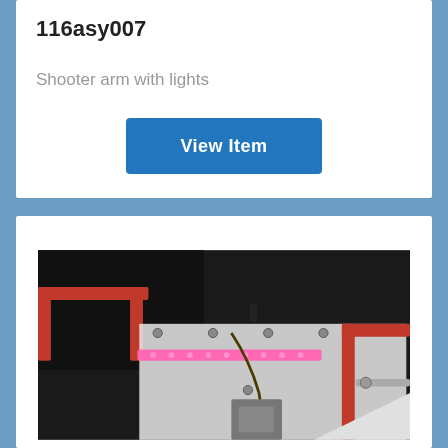116asy007
Shooter arm with lights
View Item
[Figure (photo): Close-up photo of a shooter arm mechanism with pink LED strip lights attached to a translucent/white plastic frame and red bracket, with various bolts and a motor visible against a dark background.]